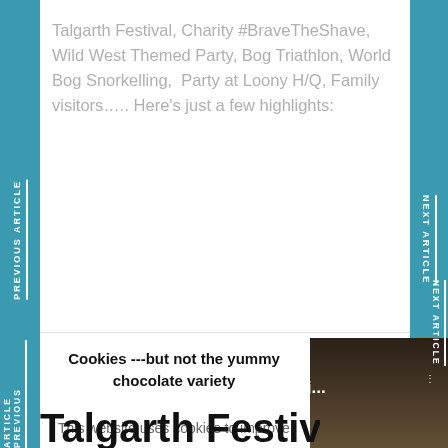Talgarth Festival, Charity #BraveTheShave, Wild West Themed Party, Bog Triathlon, World Bog Snorkelling, Party at Loony H/Q, Family visitors….. Here's just a few highlights:
PREVIOUS ARTICLE
NEXT ARTICLE
Cookies ---but not the yummy chocolate variety
This website uses cookies to improve your experience. We'll assume you're ok with this, but you can opt-out if you wish. Cookie settings Okay!
[Figure (photo): Partial photo showing water/stream scene, with text 'npi...' and three dots menu icon visible]
Talgarth Festival :